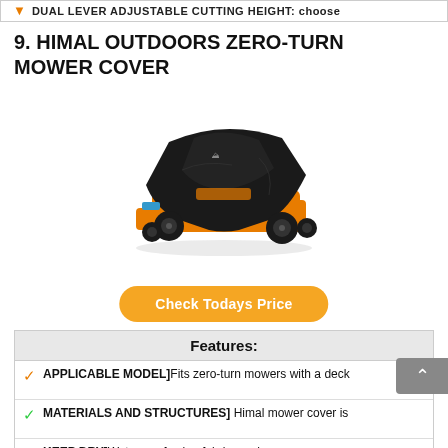DUAL LEVER ADJUSTABLE CUTTING HEIGHT: choose
9. HIMAL OUTDOORS ZERO-TURN MOWER COVER
[Figure (photo): Black zero-turn mower cover (Himal Outdoors brand) draped over an orange and black zero-turn riding mower, shown on white background.]
Check Todays Price
| Features: |
| --- |
| ✓ APPLICABLE MODEL]Fits zero-turn mowers with a deck |
| ✓ MATERIALS AND STRUCTURES] Himal mower cover is |
| ✓ KEEP DRY]Waterproof nylon fabric can keep your mower |
| ✓ |